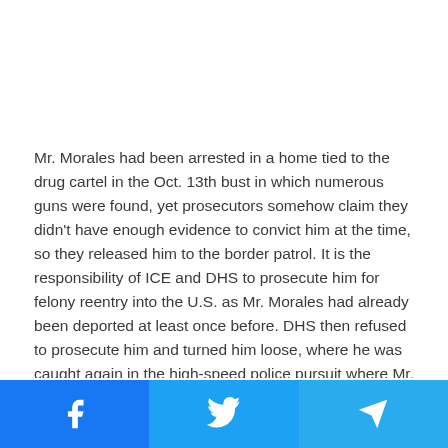Mr. Morales had been arrested in a home tied to the drug cartel in the Oct. 13th bust in which numerous guns were found, yet prosecutors somehow claim they didn't have enough evidence to convict him at the time, so they released him to the border patrol. It is the responsibility of ICE and DHS to prosecute him for felony reentry into the U.S. as Mr. Morales had already been deported at least once before. DHS then refused to prosecute him and turned him loose, where he was caught again in the high-speed police pursuit where Mr. Morales also tried to kill a
[Figure (other): Social media sharing bar with Facebook, Twitter, and Telegram buttons]